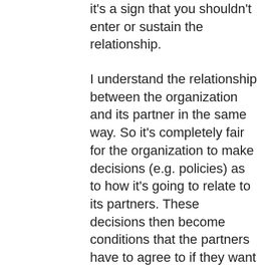it's a sign that you shouldn't enter or sustain the relationship.
I understand the relationship between the organization and its partner in the same way. So it's completely fair for the organization to make decisions (e.g. policies) as to how it's going to relate to its partners. These decisions then become conditions that the partners have to agree to if they want to stay in relationship with the organization. (And of course as in any relationship, if the organization has any interest in keeping those relationships healthy, it's generally a good idea to